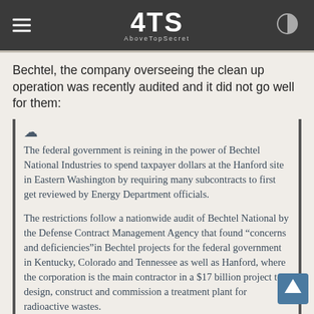ATS AboveTopSecret
Bechtel, the company overseeing the clean up operation was recently audited and it did not go well for them:
The federal government is reining in the power of Bechtel National Industries to spend taxpayer dollars at the Hanford site in Eastern Washington by requiring many subcontracts to first get reviewed by Energy Department officials.
The restrictions follow a nationwide audit of Bechtel National by the Defense Contract Management Agency that found “concerns and deficiencies”in Bechtel projects for the federal government in Kentucky, Colorado and Tennessee as well as Hanford, where the corporation is the main contractor in a $17 billion project to design, construct and commission a treatment plant for radioactive wastes.
Until the federal government restores approvals for Bechtel, corporate employees must get consent from federal oversight officials for any purchase agreement